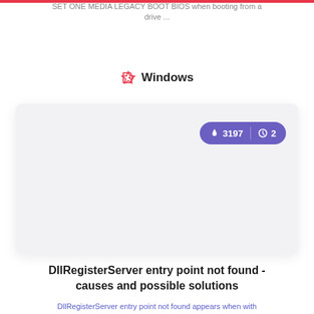SET ONE MEDIA LEGACY BOOT BIOS when booting from a drive ...
Windows
[Figure (screenshot): A light gray card/thumbnail placeholder with a dark purple badge showing fire icon 3197 and clock icon 2]
DllRegisterServer entry point not found - causes and possible solutions
DllRegisterServer entry point not found appears when with